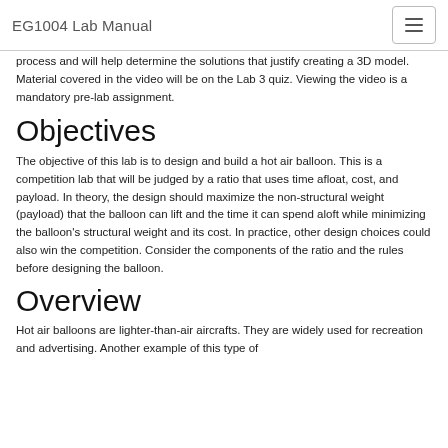EG1004 Lab Manual
process and will help determine the solutions that justify creating a 3D model. Material covered in the video will be on the Lab 3 quiz. Viewing the video is a mandatory pre-lab assignment.
Objectives
The objective of this lab is to design and build a hot air balloon. This is a competition lab that will be judged by a ratio that uses time afloat, cost, and payload. In theory, the design should maximize the non-structural weight (payload) that the balloon can lift and the time it can spend aloft while minimizing the balloon's structural weight and its cost. In practice, other design choices could also win the competition. Consider the components of the ratio and the rules before designing the balloon.
Overview
Hot air balloons are lighter-than-air aircrafts. They are widely used for recreation and advertising. Another example of this type of